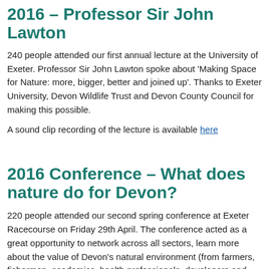2016 – Professor Sir John Lawton
240 people attended our first annual lecture at the University of Exeter.  Professor Sir John Lawton spoke about 'Making Space for Nature: more, bigger, better and joined up'. Thanks to Exeter University, Devon Wildlife Trust and Devon County Council for making this possible.
A sound clip recording of the lecture is available here
2016 Conference – What does nature do for Devon?
220 people attended our second spring conference at Exeter Racecourse on Friday 29th April. The conference acted as a great opportunity to network across all sectors, learn more about the value of Devon's natural environment (from farmers, fishermen, academics, health professionals, developers and ecologists) and discuss how we increase